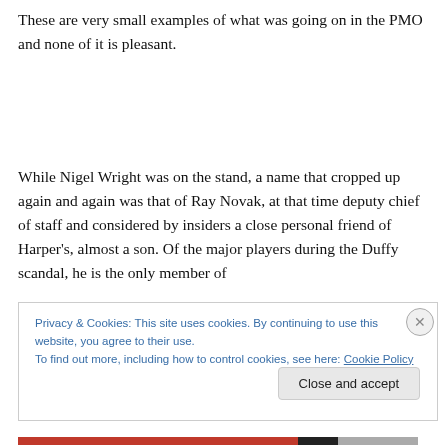These are very small examples of what was going on in the PMO and none of it is pleasant.
While Nigel Wright was on the stand, a name that cropped up again and again was that of Ray Novak, at that time deputy chief of staff and considered by insiders a close personal friend of Harper's, almost a son. Of the major players during the Duffy scandal, he is the only member of
Privacy & Cookies: This site uses cookies. By continuing to use this website, you agree to their use.
To find out more, including how to control cookies, see here: Cookie Policy
Close and accept